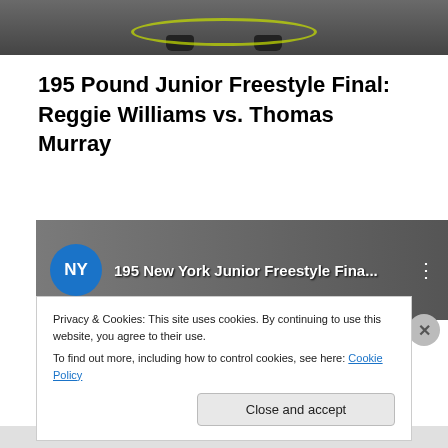[Figure (screenshot): Top portion of a video or webpage showing legs/feet of a person with a glowing yellow-green hoop on a dark floor background. Cropped at top of page.]
195 Pound Junior Freestyle Final: Reggie Williams vs. Thomas Murray
[Figure (screenshot): YouTube video thumbnail showing NY logo circle (blue), title text '195 New York Junior Freestyle Fina...' in white on dark background, with three-dot menu icon on the right.]
Privacy & Cookies: This site uses cookies. By continuing to use this website, you agree to their use.
To find out more, including how to control cookies, see here: Cookie Policy
Close and accept